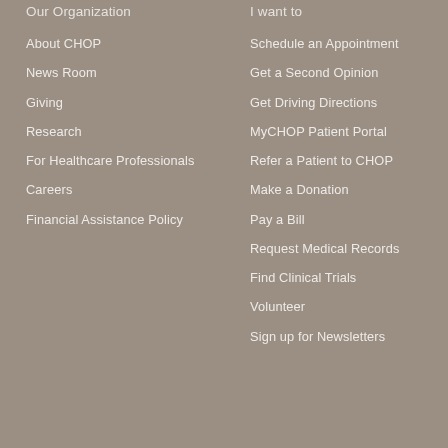Our Organization
About CHOP
News Room
Giving
Research
For Healthcare Professionals
Careers
Financial Assistance Policy
I want to
Schedule an Appointment
Get a Second Opinion
Get Driving Directions
MyCHOP Patient Portal
Refer a Patient to CHOP
Make a Donation
Pay a Bill
Request Medical Records
Find Clinical Trials
Volunteer
Sign up for Newsletters